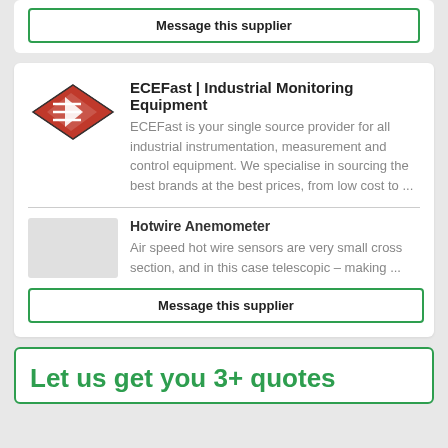Message this supplier
ECEFast | Industrial Monitoring Equipment
ECEFast is your single source provider for all industrial instrumentation, measurement and control equipment. We specialise in sourcing the best brands at the best prices, from low cost to ...
Hotwire Anemometer
Air speed hot wire sensors are very small cross section, and in this case telescopic – making ...
Message this supplier
Let us get you 3+ quotes